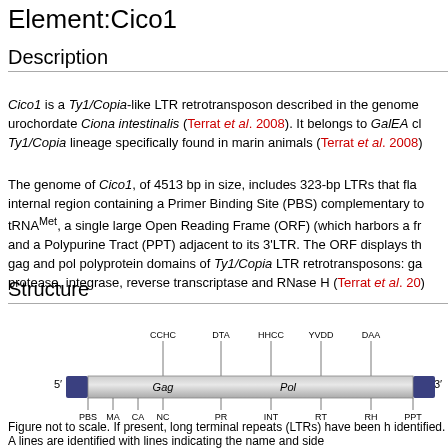Element:Cico1
Description
Cico1 is a Ty1/Copia-like LTR retrotransposon described in the genome urochordate Ciona intestinalis (Terrat et al. 2008). It belongs to GalEA cl Ty1/Copia lineage specifically found in marin animals (Terrat et al. 2008)
The genome of Cico1, of 4513 bp in size, includes 323-bp LTRs that fla internal region containing a Primer Binding Site (PBS) complementary to tRNAMet, a single large Open Reading Frame (ORF) (which harbors a fr and a Polypurine Tract (PPT) adjacent to its 3'LTR. The ORF displays th gag and pol polyprotein domains of Ty1/Copia LTR retrotransposons: ga protease, integrase, reverse transcriptase and RNase H (Terrat et al. 20
Structure
[Figure (schematic): Diagram of Cico1 retrotransposon structure showing 5' and 3' LTR ends (blue boxes), internal region with Gag and Pol domains, labeled motifs above (CCHC, DTA, HHCC, YVDD, DAA) and subdomains below (PBS, MA, CA, NC, PR, INT, RT, RH, PPT).]
Figure not to scale. If present, long terminal repeats (LTRs) have been h identified. A lines are identified with lines indicating the name and side